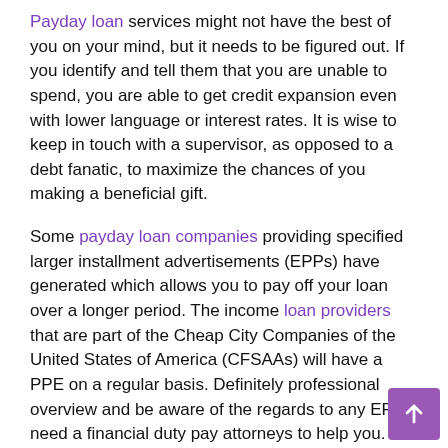Payday loan services might not have the best of you on your mind, but it needs to be figured out. If you identify and tell them that you are unable to spend, you are able to get credit expansion even with lower language or interest rates. It is wise to keep in touch with a supervisor, as opposed to a debt fanatic, to maximize the chances of you making a beneficial gift.
Some payday loan companies providing specified larger installment advertisements (EPPs) have generated which allows you to pay off your loan over a longer period. The income loan providers that are part of the Cheap City Companies of the United States of America (CFSAAs) will have a PPE on a regular basis. Definitely professional overview and be aware of the regards to any EPP; need a financial duty pay attorneys to help you. The modified arrangement may not be more beneficial than your own financing, so it may increase the interest you may be required to repay.
Debt consolidation financial